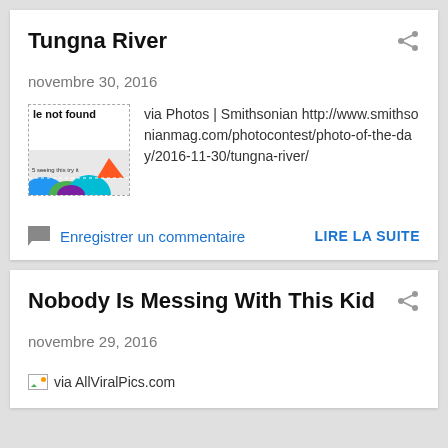Tungna River
novembre 30, 2016
[Figure (screenshot): Thumbnail image placeholder with 'le not found' text and partial colorful image at bottom showing circles in blue, green, teal, orange, purple]
via Photos | Smithsonian http://www.smithsonianmag.com/photocontest/photo-of-the-day/2016-11-30/tungna-river/
Enregistrer un commentaire
LIRE LA SUITE
Nobody Is Messing With This Kid
novembre 29, 2016
via AllViralPics.com